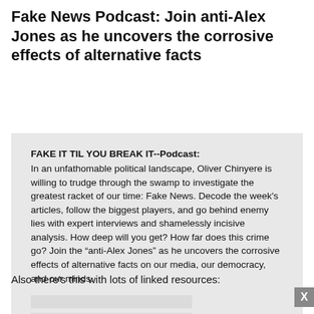Fake News Podcast: Join anti-Alex Jones as he uncovers the corrosive effects of alternative facts
FAKE IT TIL YOU BREAK IT--Podcast:
In an unfathomable political landscape, Oliver Chinyere is willing to trudge through the swamp to investigate the greatest racket of our time: Fake News. Decode the week's articles, follow the biggest players, and go behind enemy lies with expert interviews and shamelessly incisive analysis. How deep will you get? How far does this crime go? Join the "anti-Alex Jones" as he uncovers the corrosive effects of alternative facts on our media, our democracy, and our minds.

http://foreverdogproductions.com/fd...
Also there's this with lots of linked resources: